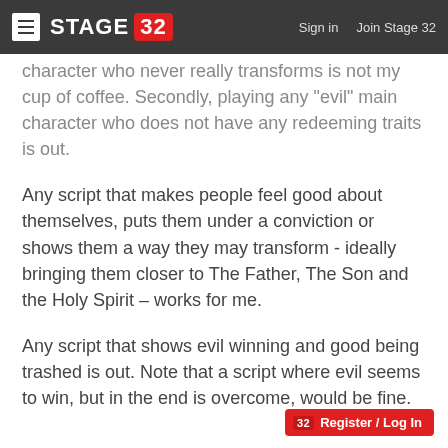STAGE 32 | Sign in  Join Stage 32
character who never really transforms is not my cup of coffee. Secondly, playing any "evil" main character who does not have any redeeming traits is out.
Any script that makes people feel good about themselves, puts them under a conviction or shows them a way they may transform - ideally bringing them closer to The Father, The Son and the Holy Spirit – works for me.
Any script that shows evil winning and good being trashed is out. Note that a script where evil seems to win, but in the end is overcome, would be fine.